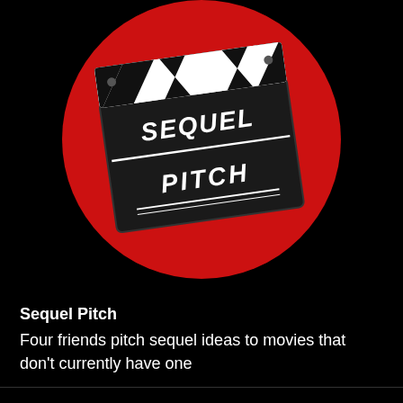[Figure (logo): Sequel Pitch podcast logo: a black movie clapperboard with white text reading SEQUEL PITCH on the lower board, angled on a large red circle background against black]
Sequel Pitch
Four friends pitch sequel ideas to movies that don't currently have one